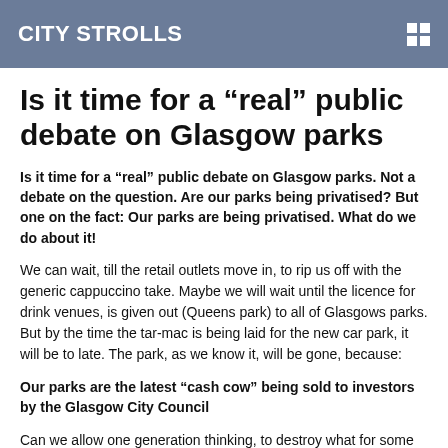CITY STROLLS
Is it time for a “real” public debate on Glasgow parks
Is it time for a “real” public debate on Glasgow parks. Not a debate on the question. Are our parks being privatised? But one on the fact: Our parks are being privatised. What do we do about it!
We can wait, till the retail outlets move in, to rip us off with the generic cappuccino take. Maybe we will wait until the licence for drink venues, is given out (Queens park) to all of Glasgows parks. But by the time the tar-mac is being laid for the new car park, it will be to late. The park, as we know it, will be gone, because:
Our parks are the latest “cash cow” being sold to investors by the Glasgow City Council
Can we allow one generation thinking, to destroy what for some weans is the nearest that they get to the countryside. There is all the